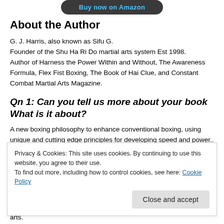[Figure (other): Buy now on Amazon button (dark rounded rectangle with blue text)]
About the Author
G. J. Harris, also known as Sifu G.
Founder of the Shu Ha Ri Do martial arts system Est 1998.
Author of Harness the Power Within and Without, The Awareness Formula, Flex Fist Boxing, The Book of Hai Clue, and Constant Combat Martial Arts Magazine.
Qn 1: Can you tell us more about your book What is it about?
A new boxing philosophy to enhance conventional boxing, using unique and cutting edge principles for developing speed and power..
Privacy & Cookies: This site uses cookies. By continuing to use this website, you agree to their use.
To find out more, including how to control cookies, see here: Cookie Policy
arts.